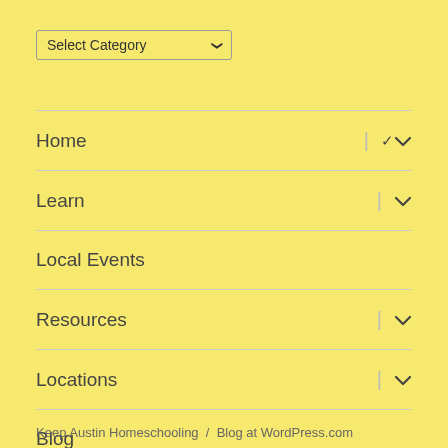Select Category
Home
Learn
Local Events
Resources
Locations
Blog
Keep Austin Homeschooling  /  Blog at WordPress.com